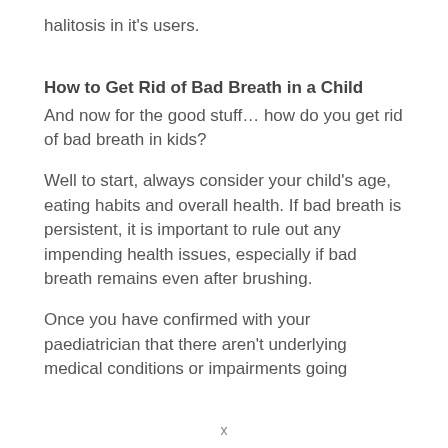halitosis in it's users.
How to Get Rid of Bad Breath in a Child
And now for the good stuff… how do you get rid of bad breath in kids?
Well to start, always consider your child's age, eating habits and overall health. If bad breath is persistent, it is important to rule out any impending health issues, especially if bad breath remains even after brushing.
Once you have confirmed with your paediatrician that there aren't underlying medical conditions or impairments going
x